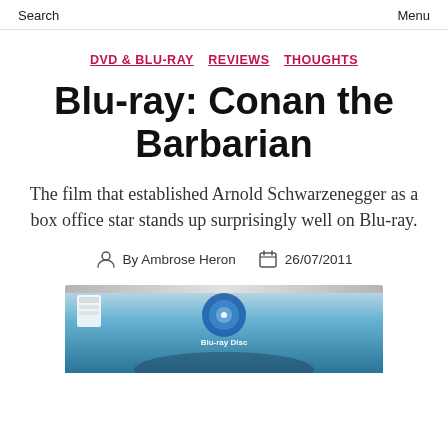Search   Menu
DVD & BLU-RAY   REVIEWS   THOUGHTS
Blu-ray: Conan the Barbarian
The film that established Arnold Schwarzenegger as a box office star stands up surprisingly well on Blu-ray.
By Ambrose Heron   26/07/2011
[Figure (photo): Blu-ray disc box packaging for Conan the Barbarian, showing a blue case with the Blu-ray Disc logo and partially visible artwork at the bottom]